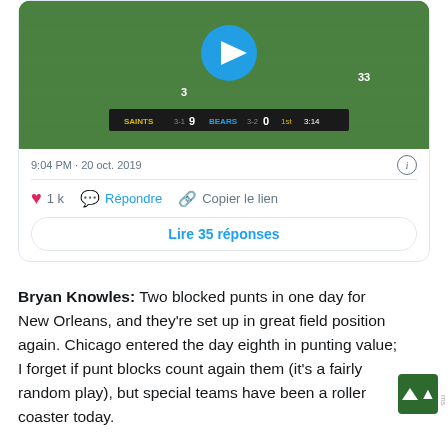[Figure (screenshot): Video thumbnail of NFL game between Saints and Bears with play button overlay. Scoreboard shows SAINTS 3-1 9, BEARS 3-2 0, 1st quarter, 3:14 remaining.]
9:04 PM · 20 oct. 2019
❤ 1k   💬 Répondre   🔗 Copier le lien
Lire 35 réponses
Bryan Knowles: Two blocked punts in one day for New Orleans, and they're set up in great field position again. Chicago entered the day eighth in punting value; I forget if punt blocks count against them (it's a fairly random play), but special teams have been a roller coaster today.
Mitch Trubisky has been terrible, and Soldier Field is awash with boos. 13-for-23 for 78 yards is bad.